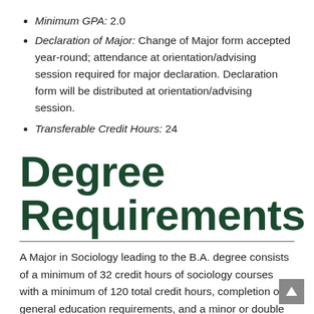Minimum GPA:  2.0
Declaration of Major:  Change of Major form accepted year-round; attendance at orientation/advising session required for major declaration.  Declaration form will be distributed at orientation/advising session.
Transferable Credit Hours:  24
Degree Requirements
A Major in Sociology leading to the B.A. degree consists of a minimum of 32 credit hours of sociology courses with a minimum of 120 total credit hours, completion of general education requirements, and a minor or double major.  All Sociological Theory Core courses, Sociological Research Methods, Quantitative